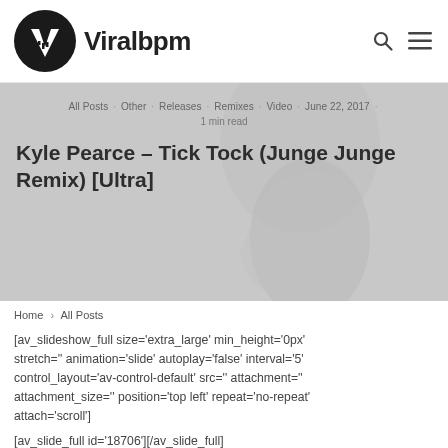Viralbpm
[Figure (screenshot): Hero banner with faint hand/face silhouette background, showing category tags, date, read time, and article title]
All Posts · Other · Releases · Remixes · Video · June 22, 2017 · 1 min read
Kyle Pearce – Tick Tock (Junge Junge Remix) [Ultra]
Home > All Posts
[av_slideshow_full size='extra_large' min_height='0px' stretch='' animation='slide' autoplay='false' interval='5' control_layout='av-control-default' src='' attachment='' attachment_size='' position='top left' repeat='no-repeat' attach='scroll']
[av_slide_full id='18706'][/av_slide_full]